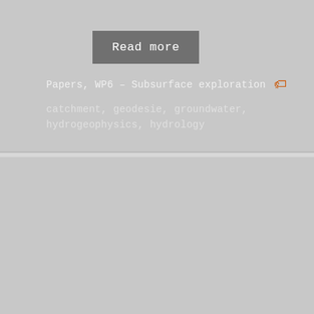Read more
Papers, WP6 – Subsurface exploration
catchment, geodesie, groundwater, hydrogeophysics, hydrology
Such a critical zone
[Figure (photo): Aerial or satellite image of a dry, rocky terrain with reddish-brown erosion patterns. A small logo watermark reading CRITEX appears in the lower right.]
Sorry, this article is in French only! Go to the article in French